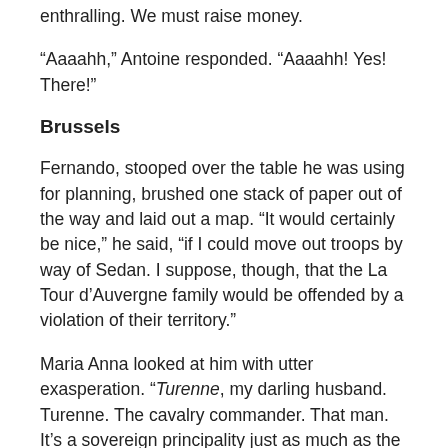enthralling. We must raise money.
“Aaaahh,” Antoine responded. “Aaaahh! Yes! There!”
Brussels
Fernando, stooped over the table he was using for planning, brushed one stack of paper out of the way and laid out a map. “It would certainly be nice,” he said, “if I could move out troops by way of Sedan. I suppose, though, that the La Tour d’Auvergne family would be offended by a violation of their territory.”
Maria Anna looked at him with utter exasperation. “Turenne, my darling husband. Turenne. The cavalry commander. That man. It’s a sovereign principality just as much as the Low Countries are. Sedan is where Turenne